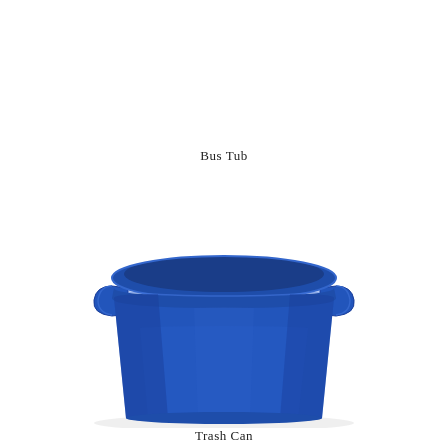Bus Tub
[Figure (photo): A blue plastic bus tub / trash can with two small side handles, viewed from slightly above and to the front. The container is wide at the top with a rolled rim and slightly tapered toward the bottom. It is a solid royal blue color with subtle shading suggesting a cylindrical form.]
Trash Can